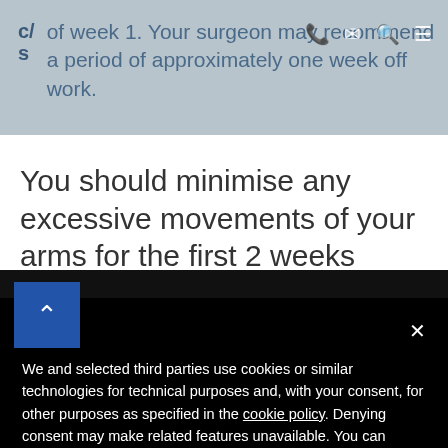of week 1. Your surgeon may recommend a period of approximately one week off work.
You should minimise any excessive movements of your arms for the first 2 weeks
Notice
We and selected third parties use cookies or similar technologies for technical purposes and, with your consent, for other purposes as specified in the cookie policy. Denying consent may make related features unavailable. You can consent to the use of such technologies by using the “Accept” button or by closing this notice.